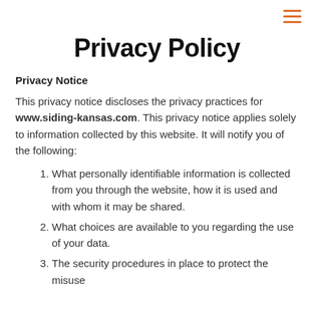≡ (menu icon)
Privacy Policy
Privacy Notice
This privacy notice discloses the privacy practices for www.siding-kansas.com. This privacy notice applies solely to information collected by this website. It will notify you of the following:
What personally identifiable information is collected from you through the website, how it is used and with whom it may be shared.
What choices are available to you regarding the use of your data.
The security procedures in place to protect the misuse of your information.